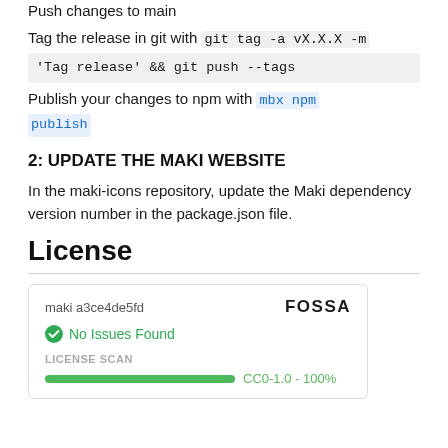Push changes to main
Tag the release in git with git tag -a vX.X.X -m 'Tag release' && git push --tags
Publish your changes to npm with mbx npm publish
2: UPDATE THE MAKI WEBSITE
In the maki-icons repository, update the Maki dependency version number in the package.json file.
License
[Figure (other): FOSSA license scan badge card showing: maki a3ce4de5fd, FOSSA logo, No Issues Found checkmark, LICENSE SCAN label, green progress bar with CC0-1.0 - 100%]